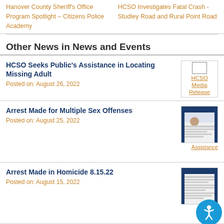Hanover County Sheriff's Office Program Spotlight – Citizens Police Academy
HCSO Investigates Fatal Crash - Studley Road and Rural Point Road
Other News in News and Events
HCSO Seeks Public's Assistance in Locating Missing Adult
Posted on: August 26, 2022
[Figure (other): HCSO Media Release thumbnail with empty box and orange text label]
Arrest Made for Multiple Sex Offenses
Posted on: August 25, 2022
[Figure (other): Thumbnail of HCSO document/media release page with photo]
Assistance
Arrest Made in Homicide 8.15.22
Posted on: August 15, 2022
[Figure (other): Thumbnail of HCSO document page]
8.2
Traffic Advisory Issued for NASCAR Race